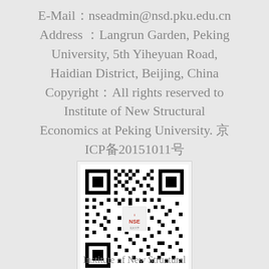E-Mail：nseadmin@nsd.pku.edu.cn Address ：Langrun Garden, Peking University, 5th Yiheyuan Road, Haidian District, Beijing, China Copyright：All rights reserved to Institute of New Structural Economics at Peking University. 京ICP备20151011号
[Figure (other): QR code for Institute of New Structural Economics at Peking University, with INSE logo in the center]
Institute of New Structural